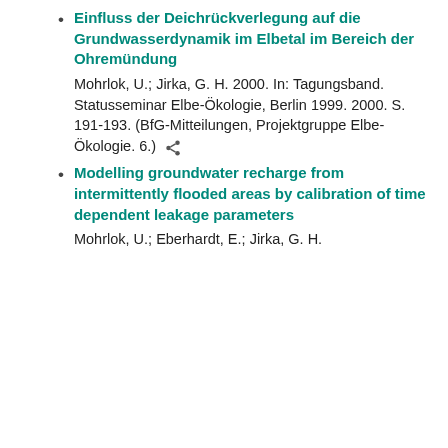Einfluss der Deichrückverlegung auf die Grundwasserdynamik im Elbetal im Bereich der Ohremündung
Mohrlok, U.; Jirka, G. H. 2000. In: Tagungsband. Statusseminar Elbe-Ökologie, Berlin 1999. 2000. S. 191-193. (BfG-Mitteilungen, Projektgruppe Elbe-Ökologie. 6.)
Modelling groundwater recharge from intermittently flooded areas by calibration of time dependent leakage parameters
Mohrlok, U.; Eberhardt, E.; Jirka, G. H.